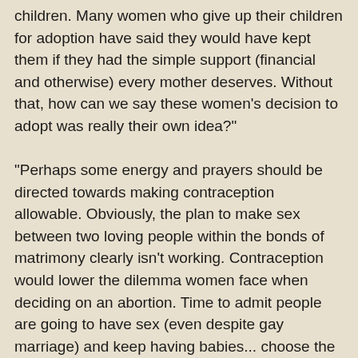children. Many women who give up their children for adoption have said they would have kept them if they had the simple support (financial and otherwise) every mother deserves. Without that, how can we say these women's decision to adopt was really their own idea?"
"Perhaps some energy and prayers should be directed towards making contraception allowable. Obviously, the plan to make sex between two loving people within the bonds of matrimony clearly isn't working. Contraception would lower the dilemma women face when deciding on an abortion. Time to admit people are going to have sex (even despite gay marriage) and keep having babies... choose the lesser of two evils, contraception over abortion."
"All of our energies and prayers must be focused on programs like these. Campaigns directed at those who have traditionally killed their children are much more effective than attacking politicians who are constitutionally unable to overturn the Supreme Courts ruling on Roe v. Wade which